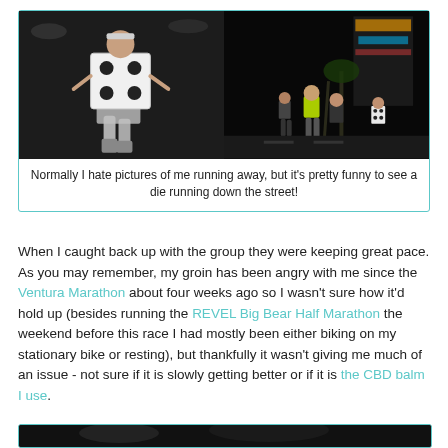[Figure (photo): Two photos side by side: left shows a person in a die costume (white box with black dots) standing on a street at night; right shows a night crowd of runners on a Las Vegas street.]
Normally I hate pictures of me running away, but it's pretty funny to see a die running down the street!
When I caught back up with the group they were keeping great pace. As you may remember, my groin has been angry with me since the Ventura Marathon about four weeks ago so I wasn't sure how it'd hold up (besides running the REVEL Big Bear Half Marathon the weekend before this race I had mostly been either biking on my stationary bike or resting), but thankfully it wasn't giving me much of an issue - not sure if it is slowly getting better or if it is the CBD balm I use.
[Figure (photo): Partial view of a night race scene, bottom of page.]